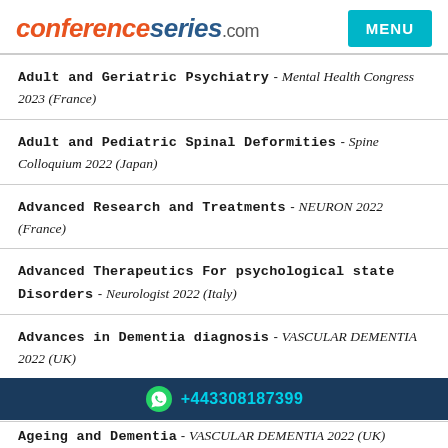conferenceseries.com MENU
Adult and Geriatric Psychiatry - Mental Health Congress 2023 (France)
Adult and Pediatric Spinal Deformities - Spine Colloquium 2022 (Japan)
Advanced Research and Treatments - NEURON 2022 (France)
Advanced Therapeutics For psychological state Disorders - Neurologist 2022 (Italy)
Advances in Dementia diagnosis - VASCULAR DEMENTIA 2022 (UK)
Ageing & Dementia - Dementia 2022 (UAE)
+443308187399
Ageing and Dementia - VASCULAR DEMENTIA 2022 (UK)